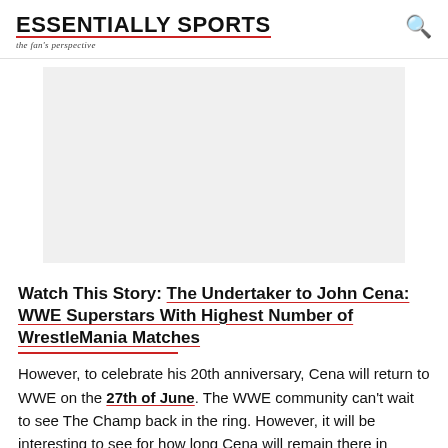ESSENTIALLY SPORTS — the fan's perspective
[Figure (other): Advertisement placeholder, light gray rectangle]
Watch This Story: The Undertaker to John Cena: WWE Superstars With Highest Number of WrestleMania Matches
However, to celebrate his 20th anniversary, Cena will return to WWE on the 27th of June. The WWE community can't wait to see The Champ back in the ring. However, it will be interesting to see for how long Cena will remain there in